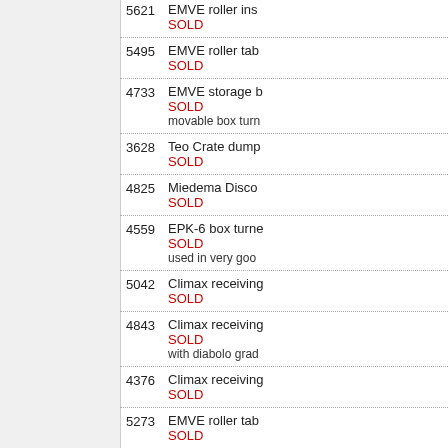5621 EMVE roller ins
SOLD
5495 EMVE roller tab
SOLD
4733 EMVE storage b
SOLD
movable box turn
3628 Teo Crate dump
SOLD
4825 Miedema Disco
SOLD
4559 EPK-6 box turne
SOLD
used in very goo
5042 Climax receiving
SOLD
4843 Climax receiving
SOLD
with diabolo grad
4376 Climax receiving
SOLD
5273 EMVE roller tab
SOLD
5031 Wifo box turner
SOLD